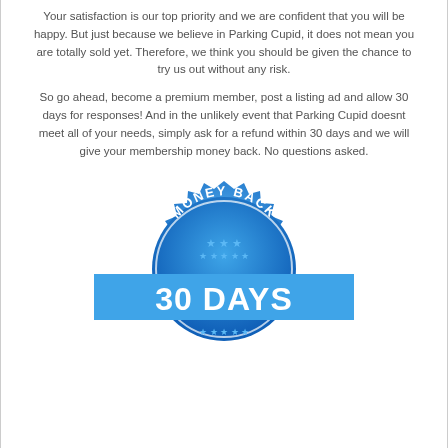Your satisfaction is our top priority and we are confident that you will be happy. But just because we believe in Parking Cupid, it does not mean you are totally sold yet. Therefore, we think you should be given the chance to try us out without any risk.
So go ahead, become a premium member, post a listing ad and allow 30 days for responses! And in the unlikely event that Parking Cupid doesnt meet all of your needs, simply ask for a refund within 30 days and we will give your membership money back. No questions asked.
[Figure (illustration): A blue circular badge/seal with text 'MONEY BACK' at the top, '30 DAYS' in large letters across the middle on a banner, and 'GUARANTEE' at the bottom, with stars decorating the badge. The badge is in shades of blue with white text.]